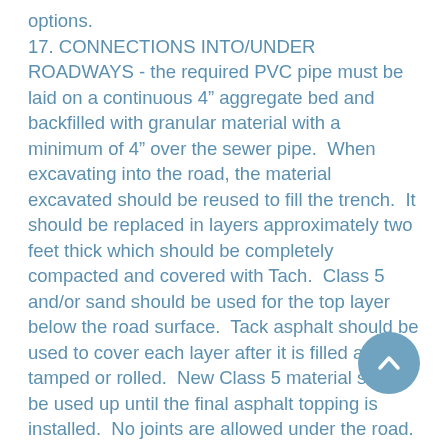options.
17. CONNECTIONS INTO/UNDER ROADWAYS - the required PVC pipe must be laid on a continuous 4" aggregate bed and backfilled with granular material with a minimum of 4" over the sewer pipe.  When excavating into the road, the material excavated should be reused to fill the trench.  It should be replaced in layers approximately two feet thick which should be completely compacted and covered with Tach.  Class 5 and/or sand should be used for the top layer below the road surface.  Tack asphalt should be used to cover each layer after it is filled and tamped or rolled.  New Class 5 material should be used up until the final asphalt topping is installed.  No joints are allowed under the road.  If the existing road used petro mat, it should be replaced and all seams spliced.
18. MECHANICAL COMPACTION